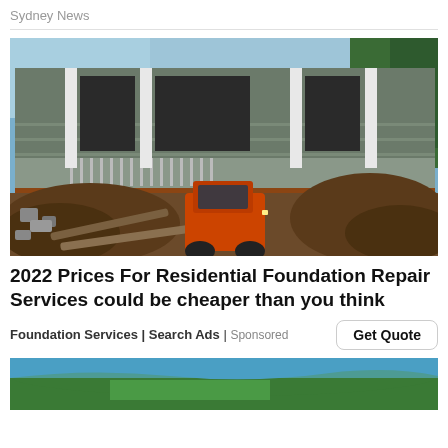Sydney News
[Figure (photo): Construction photo showing a house being lifted with a small orange skid-steer loader underneath, surrounded by excavated earth and rubble]
2022 Prices For Residential Foundation Repair Services could be cheaper than you think
Foundation Services | Search Ads | Sponsored
[Figure (photo): Aerial view of a coastline with green landscape and blue water, partially visible at the bottom of the page]